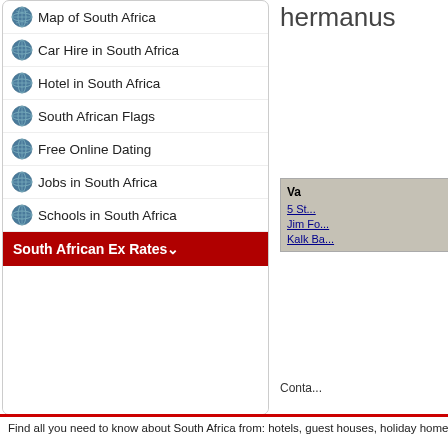Map of South Africa
Car Hire in South Africa
Hotel in South Africa
South African Flags
Free Online Dating
Jobs in South Africa
Schools in South Africa
South African Ex Rates
hermanus
Va
5 St...
Jim Fo...
Kalk Ba...
Conta...
Book cheap car hire in South Africa
Durban Beach Webcam
Schools In Gauteng South Africa
Cape Town City Bowl Flats Rental
Find all you need to know about South Africa from: hotels, guest houses, holiday homes, bed and b...